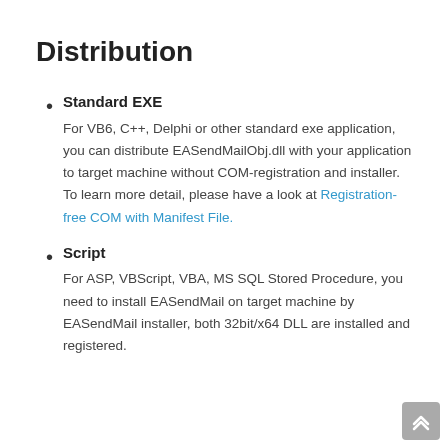Distribution
Standard EXE
For VB6, C++, Delphi or other standard exe application, you can distribute EASendMailObj.dll with your application to target machine without COM-registration and installer. To learn more detail, please have a look at Registration-free COM with Manifest File.
Script
For ASP, VBScript, VBA, MS SQL Stored Procedure, you need to install EASendMail on target machine by EASendMail installer, both 32bit/x64 DLL are installed and registered.